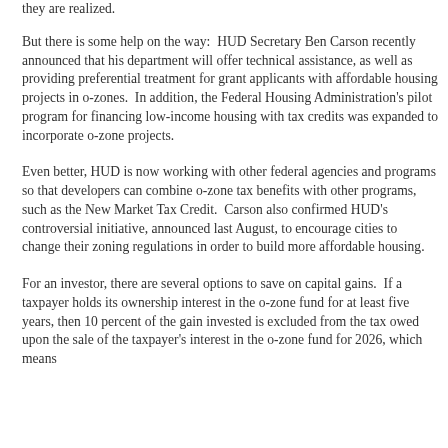they are realized.
But there is some help on the way:  HUD Secretary Ben Carson recently announced that his department will offer technical assistance, as well as providing preferential treatment for grant applicants with affordable housing projects in o-zones.  In addition, the Federal Housing Administration's pilot program for financing low-income housing with tax credits was expanded to incorporate o-zone projects.
Even better, HUD is now working with other federal agencies and programs so that developers can combine o-zone tax benefits with other programs, such as the New Market Tax Credit.  Carson also confirmed HUD's controversial initiative, announced last August, to encourage cities to change their zoning regulations in order to build more affordable housing.
For an investor, there are several options to save on capital gains.  If a taxpayer holds its ownership interest in the o-zone fund for at least five years, then 10 percent of the gain invested is excluded from the tax owed upon the sale of the taxpayer's interest in the o-zone fund for 2026, which means